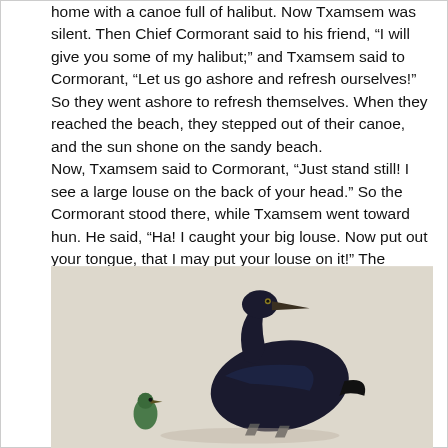home with a canoe full of halibut. Now Txamsem was silent. Then Chief Cormorant said to his friend, “I will give you some of my halibut;” and Txamsem said to Cormorant, “Let us go ashore and refresh ourselves!” So they went ashore to refresh themselves. When they reached the beach, they stepped out of their canoe, and the sun shone on the sandy beach.
Now, Txamsem said to Cormorant, “Just stand still! I see a large louse on the back of your head.” So the Cormorant stood there, while Txamsem went toward hun. He said, “Ha! I caught your big louse. Now put out your tongue, that I may put your louse on it!” The Cormorant put his tongue way out; and while he was doing so, Txamsem took hold of the tongue and tore it out.
[Figure (illustration): Illustration of a cormorant bird, dark/black in color with a long neck and beak, standing upright. A smaller green bird or object appears to the left of the cormorant. The background is a light beige/tan color.]